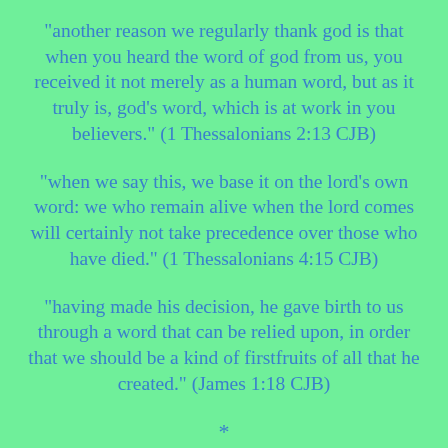“another reason we regularly thank god is that when you heard the word of god from us, you received it not merely as a human word, but as it truly is, god’s word, which is at work in you believers.” (1 Thessalonians 2:13 CJB)
“when we say this, we base it on the lord’s own word: we who remain alive when the lord comes will certainly not take precedence over those who have died.” (1 Thessalonians 4:15 CJB)
“having made his decision, he gave birth to us through a word that can be relied upon, in order that we should be a kind of firstfruits of all that he created.” (James 1:18 CJB)
*